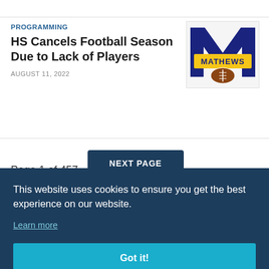PROGRAMMING
HS Cancels Football Season Due to Lack of Players
AUGUST 11, 2022
[Figure (logo): Mathews High School logo with large blue M and football, with yellow banner reading MATHEWS]
Page 1 of 457
NEXT PAGE
This website uses cookies to ensure you get the best experience on our website. Learn more
Got it!